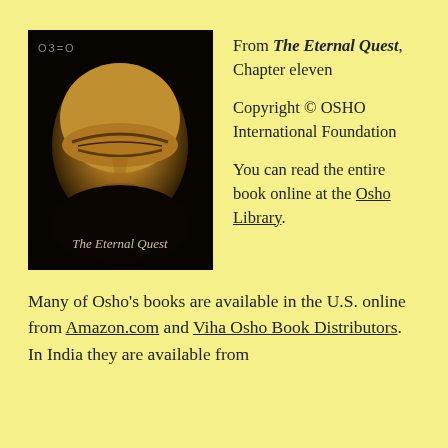[Figure (photo): Book cover of 'The Eternal Quest' by OSHO, showing a close-up of a stone carved face with closed eyes and lips, with the OSHO logo at top left and the book title at the bottom]
From The Eternal Quest, Chapter eleven
Copyright © OSHO International Foundation
You can read the entire book online at the Osho Library.
Many of Osho's books are available in the U.S. online from Amazon.com and Viha Osho Book Distributors. In India they are available from